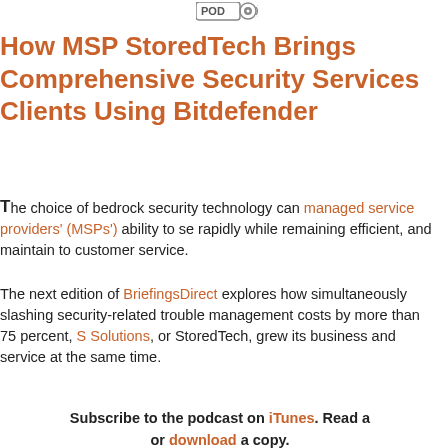[Figure (logo): POD podcast logo/icon button]
How MSP StoredTech Brings Comprehensive Security Services Clients Using Bitdefender
The choice of bedrock security technology can managed service providers' (MSPs') ability to se rapidly while remaining efficient, and maintain to customer service.
The next edition of BriefingsDirect explores how simultaneously slashing security-related trouble management costs by more than 75 percent, S Solutions, or StoredTech, grew its business and service at the same time.
Subscribe to the podcast on iTunes. Read a or download a copy.
Stay with us as we learn now how StoredTech a Bitdefender Cloud Security for Managed Service dramatically improve the security of their end us develop enhanced customer loyalty.
Here to discuss the role of the latest Bitdefender technology for making MSPs more like security